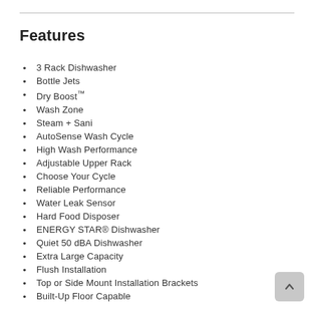Features
3 Rack Dishwasher
Bottle Jets
Dry Boost™
Wash Zone
Steam + Sani
AutoSense Wash Cycle
High Wash Performance
Adjustable Upper Rack
Choose Your Cycle
Reliable Performance
Water Leak Sensor
Hard Food Disposer
ENERGY STAR® Dishwasher
Quiet 50 dBA Dishwasher
Extra Large Capacity
Flush Installation
Top or Side Mount Installation Brackets
Built-Up Floor Capable